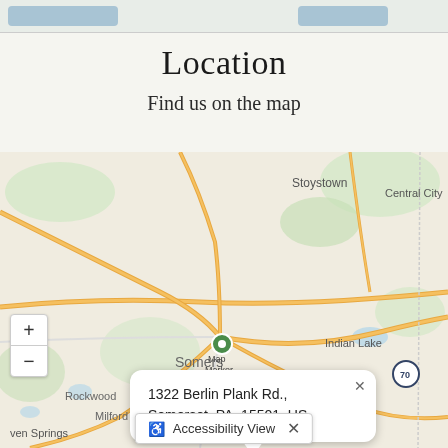Location
Find us on the map
[Figure (map): Interactive map showing location at 1322 Berlin Plank Rd., Somerset, PA, 15501, US with a popup balloon and map marker. Map shows surrounding area including Stoystown, Central City, Indian Lake, Seven Springs, Milford, Berlin, Rockwood. Zoom controls (+/-) visible on left. Accessibility View button at bottom.]